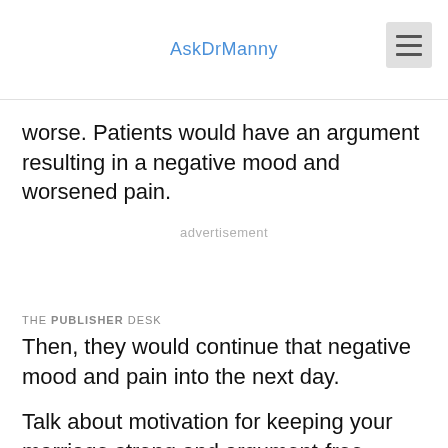AskDrManny
worse. Patients would have an argument resulting in a negative mood and worsened pain.
advertisement
THE PUBLISHER DESK
Then, they would continue that negative mood and pain into the next day.
Talk about motivation for keeping your marriage strong and argument-free.
This information has led the researchers to conclude that, yes, arguing with your spouse can worsen physical ailments. More